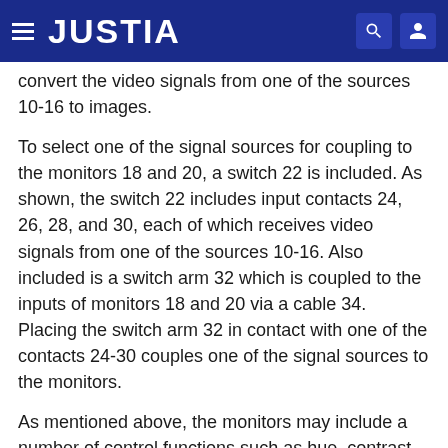JUSTIA
convert the video signals from one of the sources 10-16 to images.
To select one of the signal sources for coupling to the monitors 18 and 20, a switch 22 is included. As shown, the switch 22 includes input contacts 24, 26, 28, and 30, each of which receives video signals from one of the sources 10-16. Also included is a switch arm 32 which is coupled to the inputs of monitors 18 and 20 via a cable 34. Placing the switch arm 32 in contact with one of the contacts 24-30 couples one of the signal sources to the monitors.
As mentioned above, the monitors may include a number of control functions such as hue, contrast, volume and the like. Conventionally, all such functions may be adjusted by user-operable knobs (not shown) on the monitors. However, with the knobs set for proper